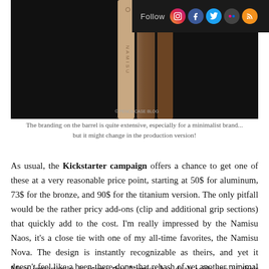[Figure (photo): Close-up photo of a pen barrel with NAMISU branding text running along it, dark background, with pencilcase blog watermark]
The branding on the barrel is quite extensive, especially for a minimalist brand... but it might change in the production version!
As usual, the Kickstarter campaign offers a chance to get one of these at a very reasonable price point, starting at 50$ for aluminum, 73$ for the bronze, and 90$ for the titanium version. The only pitfall would be the rather pricy add-ons (clip and additional grip sections) that quickly add to the cost. I'm really impressed by the Namisu Naos, it's a close tie with one of my all-time favorites, the Namisu Nova. The design is instantly recognizable as theirs, and yet it doesn't feel like a been-there-done-that rehash of yet another minimal pen.
Most importantly, it seems that Namisu has dealt with one of their biggest weaknesses, which was their rather poor communication.